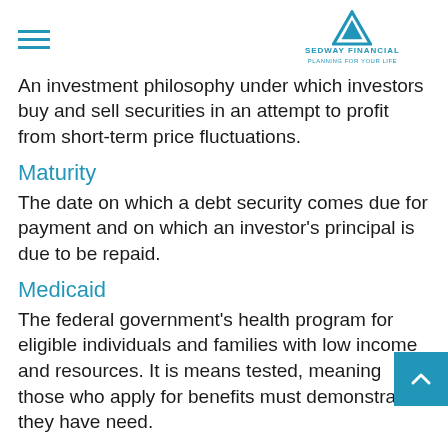Sedway Financial
An investment philosophy under which investors buy and sell securities in an attempt to profit from short-term price fluctuations.
Maturity
The date on which a debt security comes due for payment and on which an investor's principal is due to be repaid.
Medicaid
The federal government's health program for eligible individuals and families with low income and resources. It is means tested, meaning those who apply for benefits must demonstrate they have need.